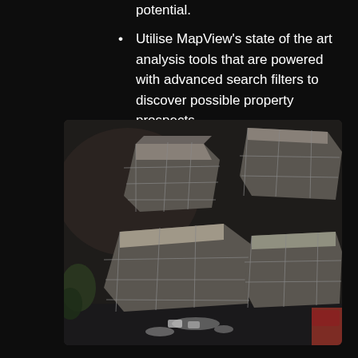potential.
Utilise MapView’s state of the art analysis tools that are powered with advanced search filters to discover possible property prospects.
[Figure (photo): Aerial drone photograph of a residential construction site showing multiple buildings under construction with scaffolding, surrounded by cleared earth, roads, and some vegetation at the edges.]